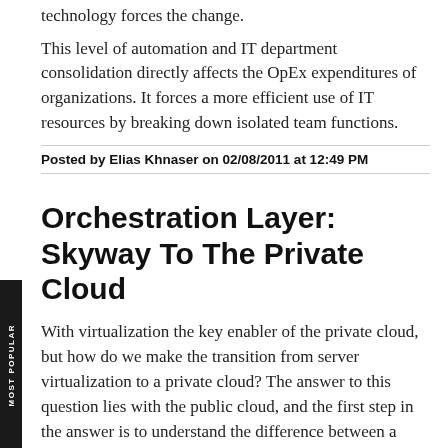technology forces the change.
This level of automation and IT department consolidation directly affects the OpEx expenditures of organizations. It forces a more efficient use of IT resources by breaking down isolated team functions.
Posted by Elias Khnaser on 02/08/2011 at 12:49 PM
Orchestration Layer: Skyway To The Private Cloud
With virtualization the key enabler of the private cloud, but how do we make the transition from server virtualization to a private cloud? The answer to this question lies with the public cloud, and the first step in the answer is to understand the difference between a virtualized data center and the private cloud.